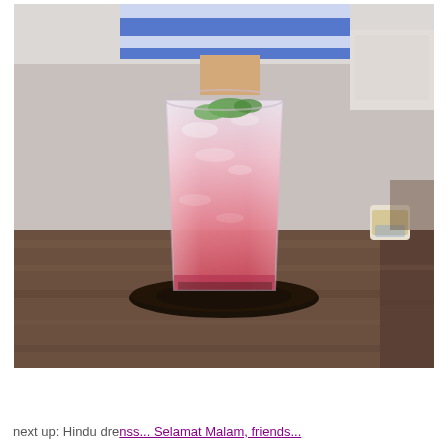[Figure (photo): A pink iced drink in a short glass sitting on a dark round coaster on a wooden table. The drink has mint leaves on top and transitions from light pink at the top to deeper pink/red at the bottom. In the background is a person wearing a blue and white striped shirt, and on the right side of the table is a small decorative item.]
next up: Hindu dre... Selamat Malam, friends...